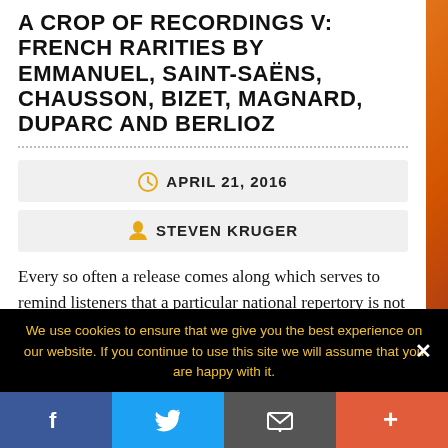A CROP OF RECORDINGS V: FRENCH RARITIES BY EMMANUEL, SAINT-SAËNS, CHAUSSON, BIZET, MAGNARD, DUPARC AND BERLIOZ
APRIL 21, 2016
STEVEN KRUGER
Every so often a release comes along which serves to remind listeners that a particular national repertory is not always so well known to us as we
We use cookies to ensure that we give you the best experience on our website. If you continue to use this site we will assume that you are happy with it.